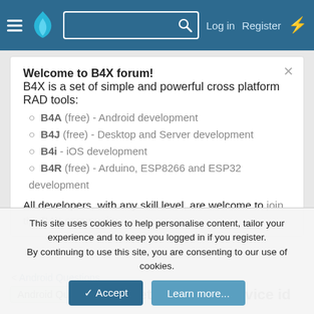B4X Forum navigation bar with hamburger menu, flame logo, search box, Log in, Register, and lightning icon
Welcome to B4X forum!
B4X is a set of simple and powerful cross platform RAD tools:
B4A (free) - Android development
B4J (free) - Desktop and Server development
B4i - iOS development
B4R (free) - Arduino, ESP8266 and ESP32 development
All developers, with any skill level, are welcome to join the B4X community.
< Android Questions
Android Question  targetsdk 28 get device id
This site uses cookies to help personalise content, tailor your experience and to keep you logged in if you register.
By continuing to use this site, you are consenting to our use of cookies.